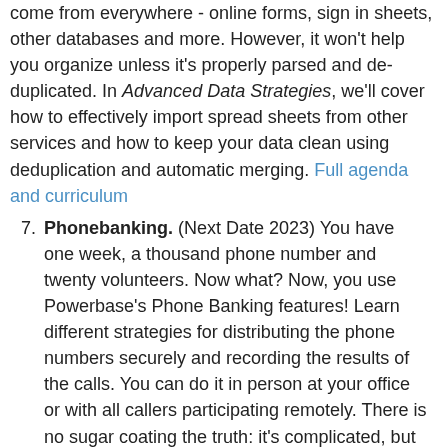come from everywhere - online forms, sign in sheets, other databases and more. However, it won't help you organize unless it's properly parsed and de-duplicated. In Advanced Data Strategies, we'll cover how to effectively import spread sheets from other services and how to keep your data clean using deduplication and automatic merging. Full agenda and curriculum
7. Phonebanking. (Next Date 2023) You have one week, a thousand phone number and twenty volunteers. Now what? Now, you use Powerbase's Phone Banking features! Learn different strategies for distributing the phone numbers securely and recording the results of the calls. You can do it in person at your office or with all callers participating remotely. There is no sugar coating the truth: it's complicated, but that's because it is so powerful. You can do it many ways, ask any questions you want and record all the answers.
8. Finding your Leaders. (Next Date 2023) When your organizing project has reached a certain size, nobody has a complete picture of your existing or potential leadership. Powerbase may not be able to identify leaders, but it can provide you with a list of candidates based on the criteria that makes sense to your organizing campaign. Whether it's